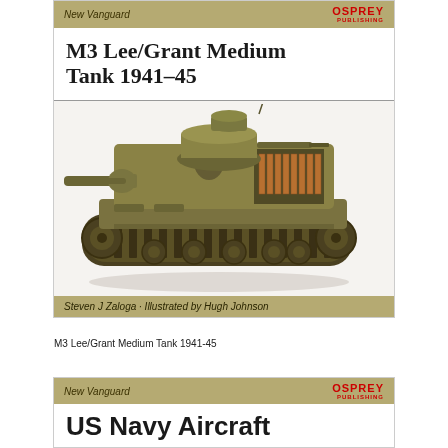New Vanguard | OSPREY PUBLISHING
M3 Lee/Grant Medium Tank 1941–45
[Figure (illustration): Cutaway illustration of M3 Lee/Grant Medium Tank showing interior crew compartment, turret, main gun, tracks, and drive wheels in olive drab camouflage coloring]
Steven J Zaloga · Illustrated by Hugh Johnson
M3 Lee/Grant Medium Tank 1941-45
New Vanguard | OSPREY PUBLISHING
US Navy Aircraft